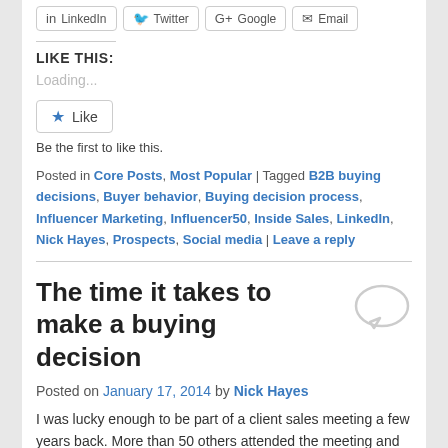[Figure (other): Social sharing buttons row: LinkedIn, Twitter, Google+, Email]
LIKE THIS:
Loading...
[Figure (other): Like button with star icon]
Be the first to like this.
Posted in Core Posts, Most Popular | Tagged B2B buying decisions, Buyer behavior, Buying decision process, Influencer Marketing, Influencer50, Inside Sales, LinkedIn, Nick Hayes, Prospects, Social media | Leave a reply
The time it takes to make a buying decision
Posted on January 17, 2014 by Nick Hayes
I was lucky enough to be part of a client sales meeting a few years back. More than 50 others attended the meeting and...